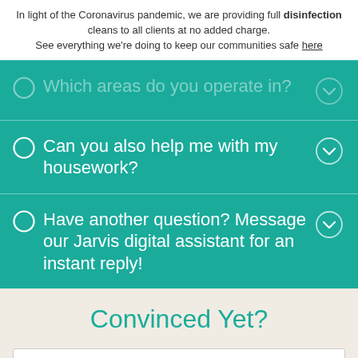In light of the Coronavirus pandemic, we are providing full disinfection cleans to all clients at no added charge. See everything we're doing to keep our communities safe here
Which areas do you operate in?
Can you also help me with my housework?
Have another question? Message our Jarvis digital assistant for an instant reply!
Convinced Yet?
Your Name